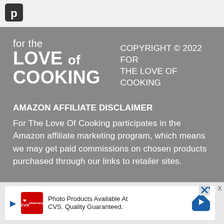[Figure (logo): Pinterest icon logo in dark square]
for the LOVE of COOKING
COPYRIGHT © 2022 FOR THE LOVE OF COOKING
AMAZON AFFILIATE DISCLAIMER
For The Love Of Cooking participates in the Amazon affiliate marketing program, which means we may get paid commissions on chosen products purchased through our links to retailer sites.
[Figure (screenshot): CVS Pharmacy advertisement banner: Photo Products Available At CVS. Quality Guaranteed.]